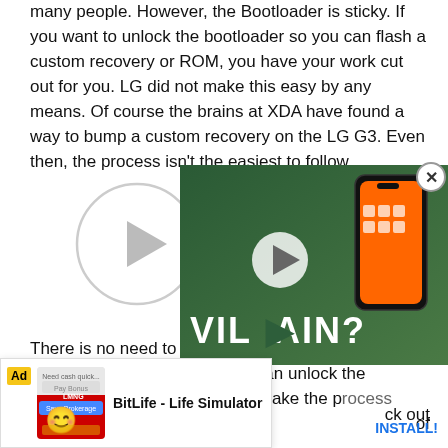many people. However, the Bootloader is sticky. If you want to unlock the bootloader so you can flash a custom recovery or ROM, you have your work cut out for you. LG did not make this easy by any means. Of course the brains at XDA have found a way to bump a custom recovery on the LG G3. Even then, the process isn't the easiest to follow.
[Figure (other): Video player placeholder with circular play button and grey border]
There is no need to fear! In today's XDA TV Producer Jared shows you how it is that you can unlock the bootloader, and also shows you a way to make the process even easier using Flashify... of how to ... ck out this vid...
[Figure (screenshot): Overlay video player showing a phone with VILLAIN? text and a play button]
[Figure (screenshot): Advertisement banner for BitLife - Life Simulator with INSTALL button]